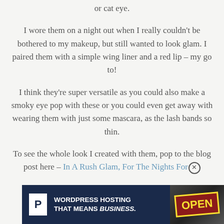or cat eye.
I wore them on a night out when I really couldn't be bothered to my makeup, but still wanted to look glam. I paired them with a simple wing liner and a red lip – my go to!
I think they're super versatile as you could also make a smoky eye pop with these or you could even get away with wearing them with just some mascara, as the lash bands so thin.
To see the whole look I created with them, pop to the blog post here – In A Rush Glam, For The Nights For
Advertisements
[Figure (other): WordPress hosting advertisement banner with dark navy background, P logo, text 'WORDPRESS HOSTING THAT MEANS BUSINESS.' and an OPEN sign photo on the right]